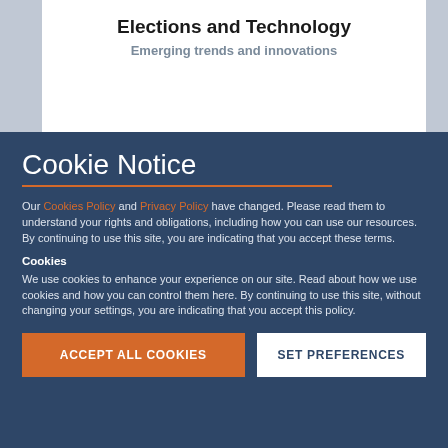Elections and Technology
Emerging trends and innovations
Cookie Notice
Our Cookies Policy and Privacy Policy have changed. Please read them to understand your rights and obligations, including how you can use our resources. By continuing to use this site, you are indicating that you accept these terms.
Cookies
We use cookies to enhance your experience on our site. Read about how we use cookies and how you can control them here. By continuing to use this site, without changing your settings, you are indicating that you accept this policy.
ACCEPT ALL COOKIES
SET PREFERENCES